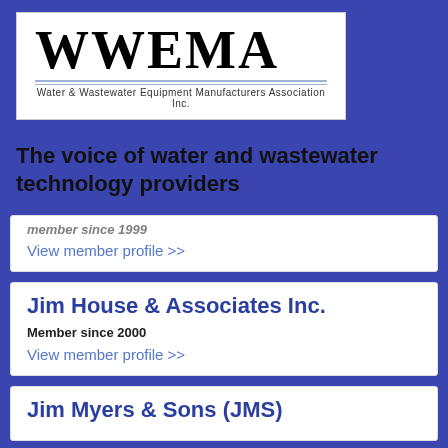[Figure (logo): WWEMA logo — Water & Wastewater Equipment Manufacturers Association Inc.]
The voice of water and wastewater technology providers
member since 1999 (partially visible, cut off)
View member profile >>
Jim House & Associates Inc.
Member since 2000
View member profile >>
Jim Myers & Sons (JMS)